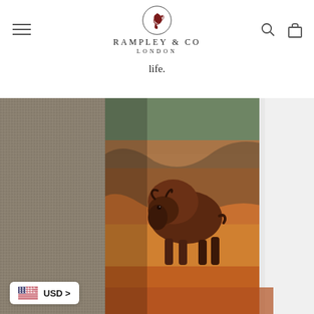RAMPLEY & CO LONDON
life.
[Figure (photo): Close-up photograph of a man wearing a grey tweed suit jacket with a silk pocket square or scarf featuring a painting of an American bison (buffalo) in a canyon landscape with warm orange and brown tones.]
USD >